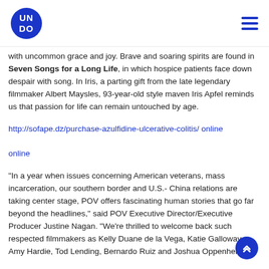UNDO (logo) — hamburger menu
with uncommon grace and joy. Brave and soaring spirits are found in Seven Songs for a Long Life, in which hospice patients face down despair with song. In Iris, a parting gift from the late legendary filmmaker Albert Maysles, 93-year-old style maven Iris Apfel reminds us that passion for life can remain untouched by age.
http://sofape.dz/purchase-azulfidine-ulcerative-colitis/ online

online
“In a year when issues concerning American veterans, mass incarceration, our southern border and U.S.- China relations are taking center stage, POV offers fascinating human stories that go far beyond the headlines,” said POV Executive Director/Executive Producer Justine Nagan. “We’re thrilled to welcome back such respected filmmakers as Kelly Duane de la Vega, Katie Galloway, Amy Hardie, Tod Lending, Bernardo Ruiz and Joshua Oppenheimer